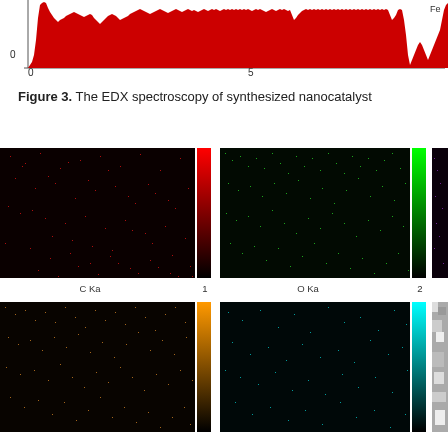[Figure (continuous-plot): Top portion of an EDX spectroscopy red histogram/spectrum chart with x-axis showing values 0 and 5, y-axis value 0 visible. Red filled area with peaks.]
Figure 3. The EDX spectroscopy of synthesized nanocatalyst
[Figure (other): EDX elemental map image for C Ka (carbon), black background with sparse red dots, red color bar on right side, labeled 'C Ka' and '1' below.]
[Figure (other): EDX elemental map image for O Ka (oxygen), black background with green noise pattern, green color bar on right side, labeled 'O Ka' and '2' below.]
[Figure (other): EDX elemental map image partially visible on right, purple/magenta color dots on black background with purple color bar.]
[Figure (other): EDX elemental map image for an element (bottom left), black background with orange/brown noise pattern, orange color bar on right side.]
[Figure (other): EDX elemental map image for an element (bottom center), black background with sparse cyan/teal dots, cyan color bar on right side.]
[Figure (photo): Partial grayscale SEM image showing nanoparticle aggregates, visible on the bottom right corner.]